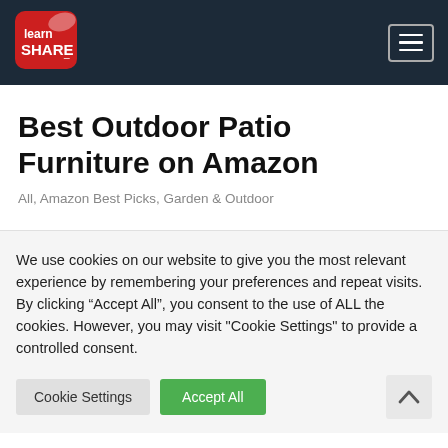learnSHARE (logo) | hamburger menu button
Best Outdoor Patio Furniture on Amazon
All, Amazon Best Picks, Garden & Outdoor
We use cookies on our website to give you the most relevant experience by remembering your preferences and repeat visits. By clicking “Accept All”, you consent to the use of ALL the cookies. However, you may visit "Cookie Settings" to provide a controlled consent.